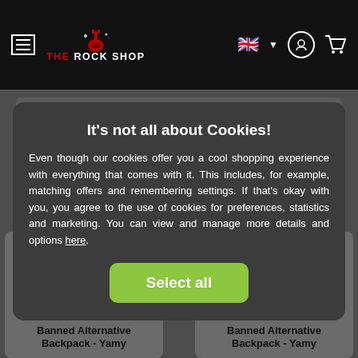[Figure (screenshot): The Rock Shop website navigation bar with hamburger menu, logo, UK flag, user icon, and cart icon]
It’s not all about Cookies!
Even though our cookies offer you a cool shopping experience with everything that comes with it. This includes, for example, matching offers and remembering settings. If that’s okay with you, you agree to the use of cookies for preferences, statistics and marketing. You can view and manage more details and options here.
[Figure (screenshot): Select all button on cookie consent modal]
Banned Alternative Backpack - Yamy
Banned Alternative Backpack - Yamy